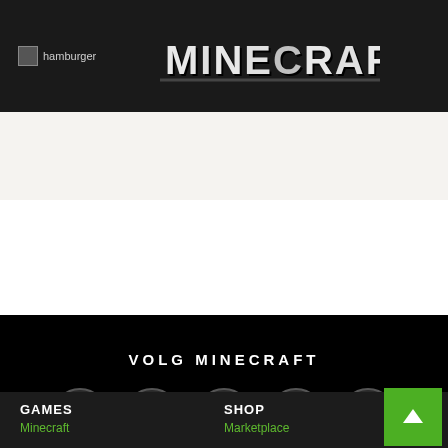hamburger | MINECRAFT
[Figure (screenshot): Minecraft logo in pixel/blocky white text on dark header bar]
[Figure (infographic): Social media follow section with YouTube, Instagram, Facebook, Twitter, Reddit circular icons on black background with text VOLG MINECRAFT]
GAMES
Minecraft
SHOP
Marketplace